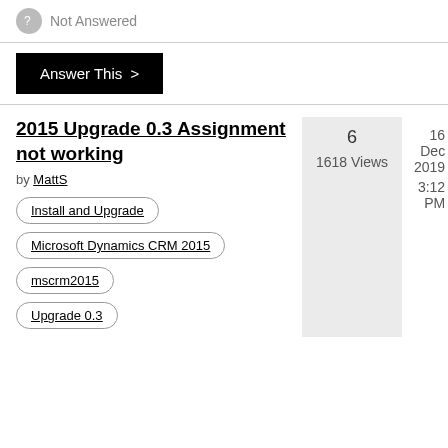Not Answered
Answer This >
2015 Upgrade 0.3 Assignment not working
by MattS
Install and Upgrade
Microsoft Dynamics CRM 2015
mscrm2015
Upgrade 0.3
6
1618 Views
16 Dec 2019
3:12 PM